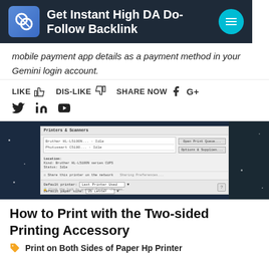Get Instant High DA Do-Follow Backlink
mobile payment app details as a payment method in your Gemini login account.
LIKE   DIS-LIKE   SHARE NOW   f   G+   (twitter)   in   (youtube)
[Figure (screenshot): Screenshot of a macOS printer settings dialog showing printer list and default printer options]
How to Print with the Two-sided Printing Accessory
Print on Both Sides of Paper Hp Printer